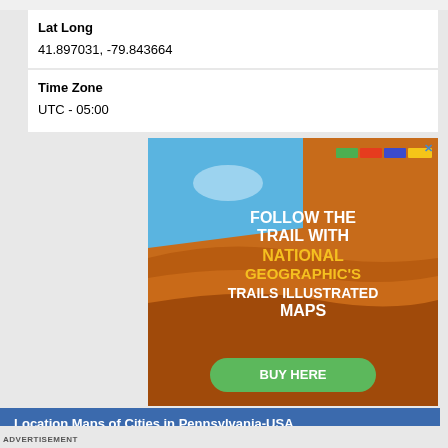Lat Long
41.897031, -79.843664
Time Zone
UTC - 05:00
[Figure (illustration): National Geographic Trails Illustrated Maps advertisement. Shows a hiker on red canyon sandstone. Text reads: FOLLOW THE TRAIL WITH NATIONAL GEOGRAPHIC'S TRAILS ILLUSTRATED MAPS. Green BUY HERE button at bottom. Colored bar at top (green, red, blue, yellow). X close button top right.]
| Location Maps of Cities in Pennsylvania-USA |
| --- |
| Where is Abbottstown | Where is Adamstown | Where is Akron |
ADVERTISEMENT